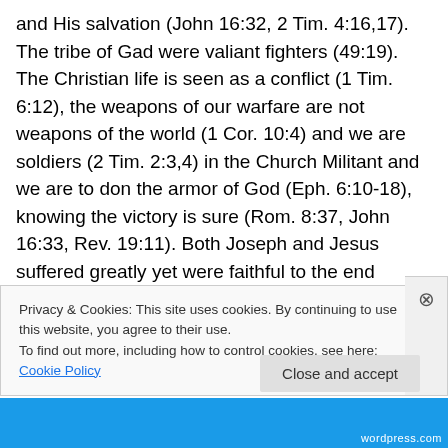and His salvation (John 16:32, 2 Tim. 4:16,17). The tribe of Gad were valiant fighters (49:19). The Christian life is seen as a conflict (1 Tim. 6:12), the weapons of our warfare are not weapons of the world (1 Cor. 10:4) and we are soldiers (2 Tim. 2:3,4) in the Church Militant and we are to don the armor of God (Eph. 6:10-18), knowing the victory is sure (Rom. 8:37, John 16:33, Rev. 19:11). Both Joseph and Jesus suffered greatly yet were faithful to the end because God was with them (49:23,24/Rev. 3:14,19:11, Isa. 53:11, Heb. 2:9,10,18,5:8,13:12). Likewise, any strength we have to withstand temptation comes from God (1 Cor. 10:13, 2
Privacy & Cookies: This site uses cookies. By continuing to use this website, you agree to their use.
To find out more, including how to control cookies, see here: Cookie Policy
Close and accept